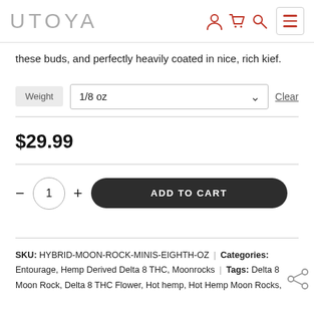UTOYA
these buds, and perfectly heavily coated in nice, rich kief.
Weight  1/8 oz  Clear
$29.99
- 1 + ADD TO CART
SKU: HYBRID-MOON-ROCK-MINIS-EIGHTH-OZ | Categories: Entourage, Hemp Derived Delta 8 THC, Moonrocks | Tags: Delta 8 Moon Rock, Delta 8 THC Flower, Hot hemp, Hot Hemp Moon Rocks,